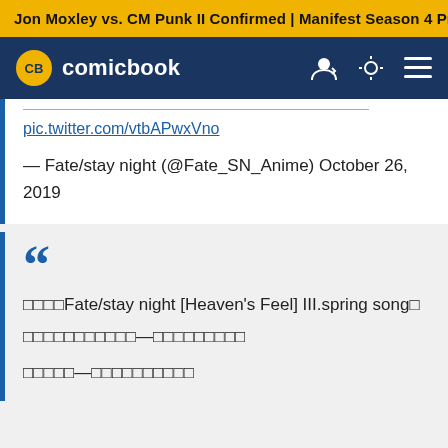Jon Moxley vs. CM Punk II Confirmed | Manifest Season 4 Pr…
CB comicbook
pic.twitter.com/vtbAPwxVno
— Fate/stay night (@Fate_SN_Anime) October 26, 2019
❝ □□□□Fate/stay night [Heaven's Feel] III.spring song□
□□□□□□□□□□□—□□□□□□□□□
□□□□□—□□□□□□□□□□